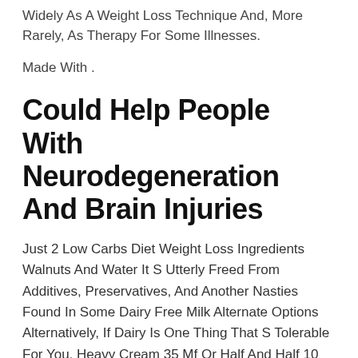Widely As A Weight Loss Technique And, More Rarely, As Therapy For Some Illnesses.
Made With .
Could Help People With Neurodegeneration And Brain Injuries
Just 2 Low Carbs Diet Weight Loss Ingredients Walnuts And Water It S Utterly Freed From Additives, Preservatives, And Another Nasties Found In Some Dairy Free Milk Alternate Options Alternatively, If Dairy Is One Thing That S Tolerable For You, Heavy Cream 35 Mf Or Half And Half 10 Mf Are A Lot Safer Decisions While The Lactose May Still Present An Issue For Some Folks, The Macro Ratios Are Extra Keto Friendly In A Single